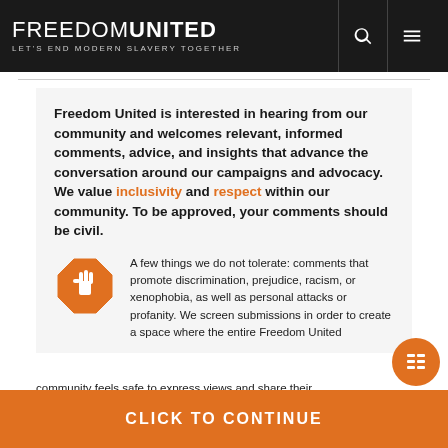FREEDOM UNITED — LET'S END MODERN SLAVERY TOGETHER
Freedom United is interested in hearing from our community and welcomes relevant, informed comments, advice, and insights that advance the conversation around our campaigns and advocacy. We value inclusivity and respect within our community. To be approved, your comments should be civil.
A few things we do not tolerate: comments that promote discrimination, prejudice, racism, or xenophobia, as well as personal attacks or profanity. We screen submissions in order to create a space where the entire Freedom United community feels safe to express views and share their...
CLICK TO CONTINUE